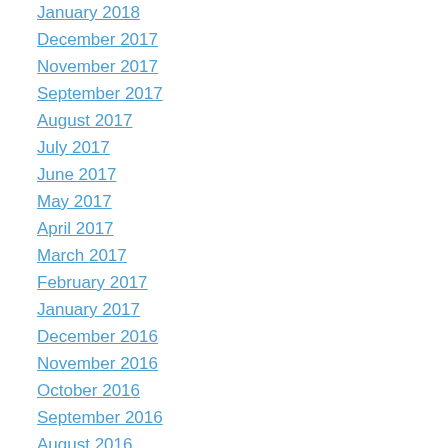January 2018
December 2017
November 2017
September 2017
August 2017
July 2017
June 2017
May 2017
April 2017
March 2017
February 2017
January 2017
December 2016
November 2016
October 2016
September 2016
August 2016
June 2016
May 2016
April 2016